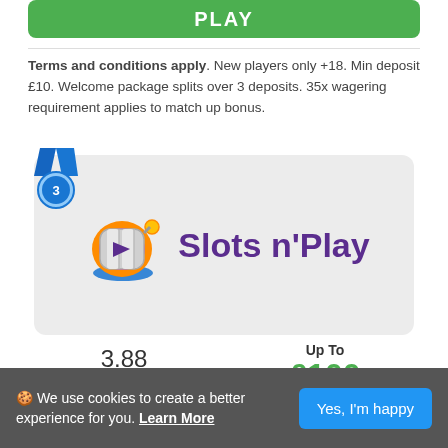[Figure (other): Green PLAY button at top]
Terms and conditions apply. New players only +18. Min deposit £10. Welcome package splits over 3 deposits. 35x wagering requirement applies to match up bonus.
[Figure (logo): Slots n'Play casino logo — slot machine graphic with purple Slots n'Play text on grey rounded card with rank #3 medal badge]
3.88
Read Review
Up To £100 and 100 Free Spins
🍪 We use cookies to create a better experience for you. Learn More